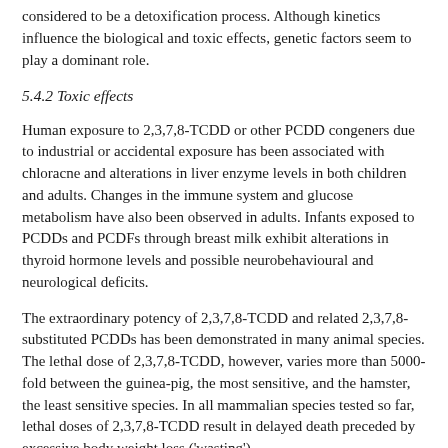considered to be a detoxification process. Although kinetics influence the biological and toxic effects, genetic factors seem to play a dominant role.
5.4.2 Toxic effects
Human exposure to 2,3,7,8-TCDD or other PCDD congeners due to industrial or accidental exposure has been associated with chloracne and alterations in liver enzyme levels in both children and adults. Changes in the immune system and glucose metabolism have also been observed in adults. Infants exposed to PCDDs and PCDFs through breast milk exhibit alterations in thyroid hormone levels and possible neurobehavioural and neurological deficits.
The extraordinary potency of 2,3,7,8-TCDD and related 2,3,7,8-substituted PCDDs has been demonstrated in many animal species. The lethal dose of 2,3,7,8-TCDD, however, varies more than 5000-fold between the guinea-pig, the most sensitive, and the hamster, the least sensitive species. In all mammalian species tested so far, lethal doses of 2,3,7,8-TCDD result in delayed death preceded by excessive body weight loss ('wasting').
Other signs of 2,3,7,8-TCDD intoxication include thymic atrophy, hypertrophy/hyperplasia of hepatic, gastrointestinal, urogenital and cutaneous epithelia, atrophy of the gonads, subcutaneous oedema and systemic haemorrhage.